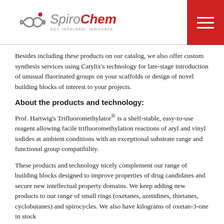[Figure (logo): SpiroChem logo with infinity/spiral symbol and tagline GET INSPIRED. INNOVATE]
Besides including these products on our catalog, we also offer custom synthesis services using Catylix's technology for late-stage introduction of unusual fluorinated groups on your scaffolds or design of novel building blocks of interest to your projects.
About the products and technology:
Prof. Hartwig's Trifluoromethylator® is a shelf-stable, easy-to-use reagent allowing facile trifluoromethylation reactions of aryl and vinyl iodides at ambient conditions with an exceptional substrate range and functional group compatibility.
These products and technology nicely complement our range of building blocks designed to improve properties of drug candidates and secure new intellectual property domains. We keep adding new products to our range of small rings (oxetanes, azetidines, thietanes, cyclobutanes) and spirocycles. We also have kilograms of oxetan-3-one in stock